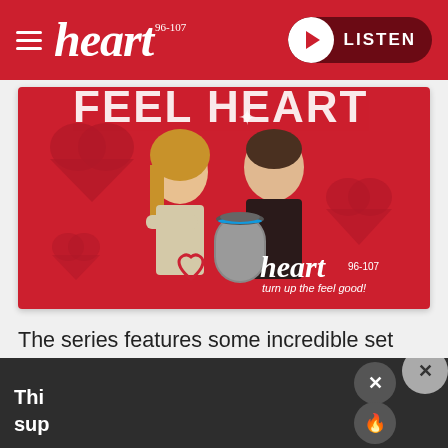heart 96-107 | LISTEN
[Figure (photo): Heart FM promotional image showing two presenters (a woman and a man) against a red background with heart motifs and an Amazon Echo device, with 'heart 96-107 turn up the feel good!' branding and 'FEEL HEART' text at top]
The series features some incredible set design built for the games, and the cast and crew have revealed that they didn't make use of much CGI.
Thi... sup...